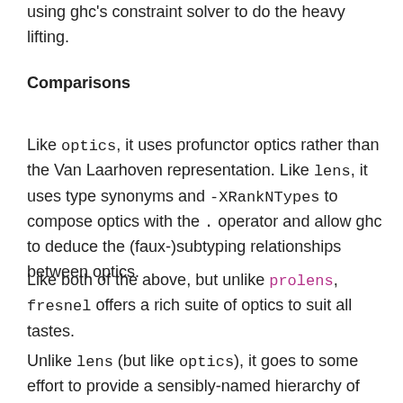using ghc's constraint solver to do the heavy lifting.
Comparisons
Like optics, it uses profunctor optics rather than the Van Laarhoven representation. Like lens, it uses type synonyms and -XRankNTypes to compose optics with the . operator and allow ghc to deduce the (faux-)subtyping relationships between optics.
Like both of the above, but unlike prolens, fresnel offers a rich suite of optics to suit all tastes.
Unlike lens (but like optics), it goes to some effort to provide a sensibly-named hierarchy of optics to improve type errors. In